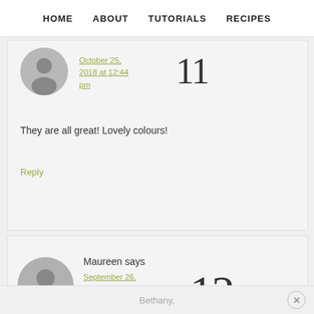HOME   ABOUT   TUTORIALS   RECIPES
October 25, 2018 at 12:44 pm
They are all great! Lovely colours!
Reply
Maureen says
September 26, 2018 at 7:32 pm
Bethany,